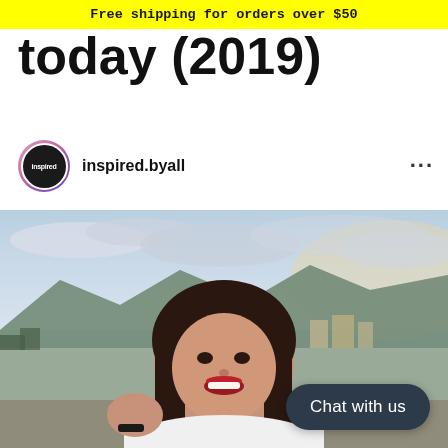Free shipping for orders over $50
today (2019)
inspired.byall
[Figure (photo): Young woman smiling at camera on a rooftop or balcony with a cityscape and mountains in the background, wearing a white top. Photo is from the Instagram account inspired.byall.]
Chat with us